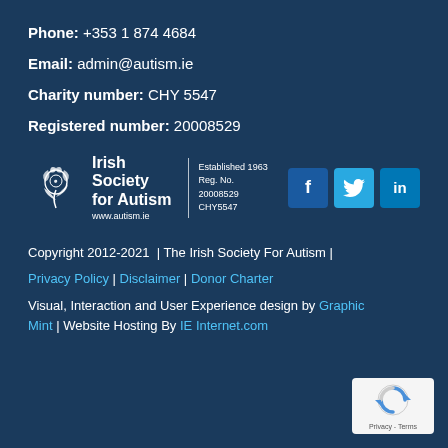Phone: +353 1 874 4684
Email: admin@autism.ie
Charity number: CHY 5547
Registered number: 20008529
[Figure (logo): Irish Society for Autism logo with rose icon, established 1963, Reg. No. 20008529, CHY5547, www.autism.ie, with Facebook, Twitter, LinkedIn social icons]
Copyright 2012-2021 | The Irish Society For Autism |
Privacy Policy | Disclaimer | Donor Charter
Visual, Interaction and User Experience design by Graphic Mint | Website Hosting By IE Internet.com